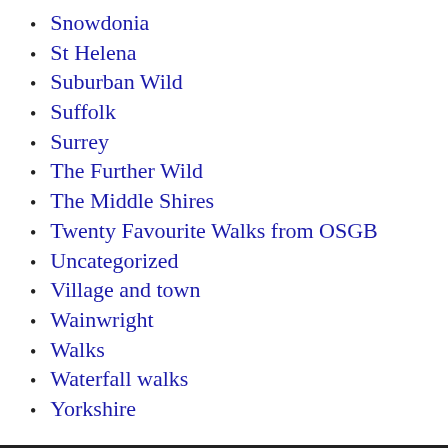Snowdonia
St Helena
Suburban Wild
Suffolk
Surrey
The Further Wild
The Middle Shires
Twenty Favourite Walks from OSGB
Uncategorized
Village and town
Wainwright
Walks
Waterfall walks
Yorkshire